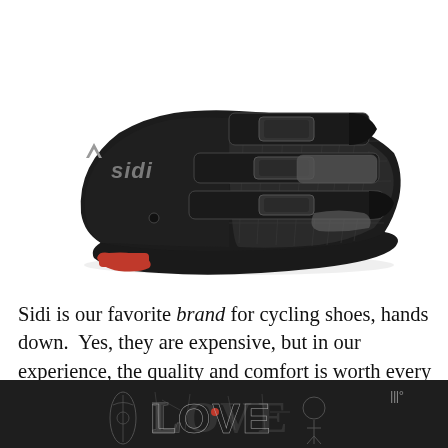[Figure (photo): A black Sidi cycling shoe shown from the side, with three velcro straps, a red cleat on the sole, and the Sidi logo on the heel. The shoe is photographed against a white background.]
Sidi is our favorite brand for cycling shoes, hands down.  Yes, they are expensive, but in our experience, the quality and comfort is worth every penny.  I've personally worn a pair of Sidi's for TEN years before they had to be
[Figure (illustration): Advertisement banner at the bottom of the page showing an ornate 'LOVE' text logo with decorative illustrations inside the letters, on a dark background. An 'x' close button is in the upper right, and a small logo appears to the right.]